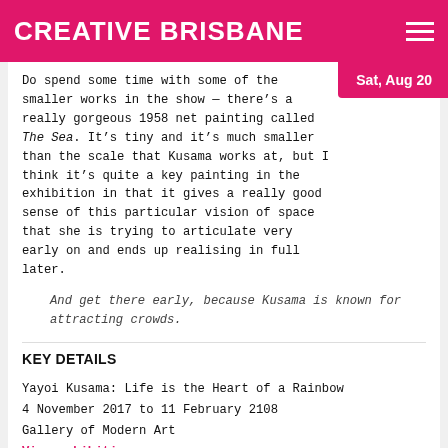CREATIVE BRISBANE
Sat, Aug 20
Do spend some time with some of the smaller works in the show — there’s a really gorgeous 1958 net painting called The Sea. It’s tiny and it’s much smaller than the scale that Kusama works at, but I think it’s quite a key painting in the exhibition in that it gives a really good sense of this particular vision of space that she is trying to articulate very early on and ends up realising in full later.
And get there early, because Kusama is known for attracting crowds.
KEY DETAILS
Yayoi Kusama: Life is the Heart of a Rainbow
4 November 2017 to 11 February 2108
Gallery of Modern Art
View exhibition program
Image: Yayoi Kusamain front of Peace Shall Come as Far as the Ends of the Universe (2017) ©YAYOI KUSAMA, Courtesy of Ota Fine Arts, Tokyo/Singapore, Victoria Miro, London, David Zwirner, New York.